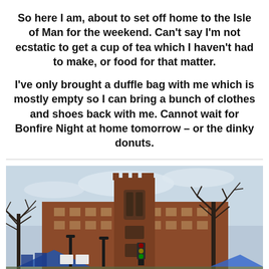So here I am, about to set off home to the Isle of Man for the weekend. Can't say I'm not ecstatic to get a cup of tea which I haven't had to make, or food for that matter.

I've only brought a duffle bag with me which is mostly empty so I can bring a bunch of clothes and shoes back with me. Cannot wait for Bonfire Night at home tomorrow – or the dinky donuts.
[Figure (photo): Outdoor photo of a large red-brick Gothic-style building (likely a university or civic building) with a prominent tower in the center. In the foreground are bare winter trees, some blue tents or structures, dark lamp posts, and a partly cloudy sky.]